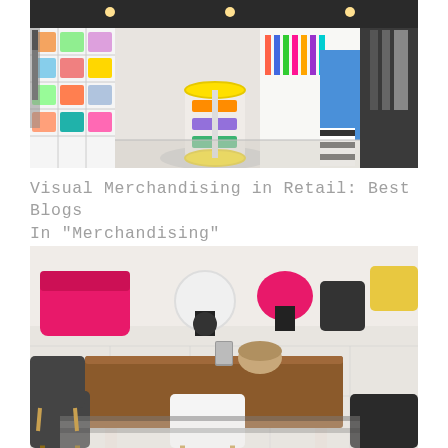[Figure (photo): Interior of a colorful retail clothing store with circular display units, shelving with folded clothes, and hanging garments on racks]
Visual Merchandising in Retail: Best Blogs In "Merchandising"
[Figure (photo): Modern furniture showroom with pink, white, and black chairs and a wooden dining table on a tiled floor]